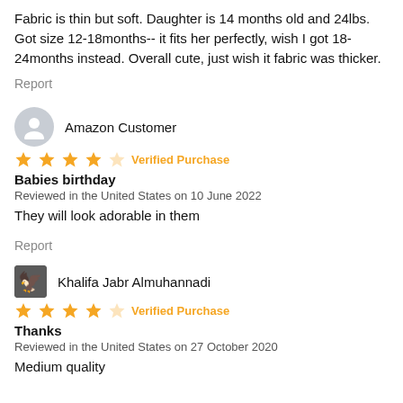Fabric is thin but soft. Daughter is 14 months old and 24lbs. Got size 12-18months-- it fits her perfectly, wish I got 18-24months instead. Overall cute, just wish it fabric was thicker.
Report
Amazon Customer
★★★★☆ Verified Purchase
Babies birthday
Reviewed in the United States on 10 June 2022
They will look adorable in them
Report
Khalifa Jabr Almuhannadi
★★★★☆ Verified Purchase
Thanks
Reviewed in the United States on 27 October 2020
Medium quality